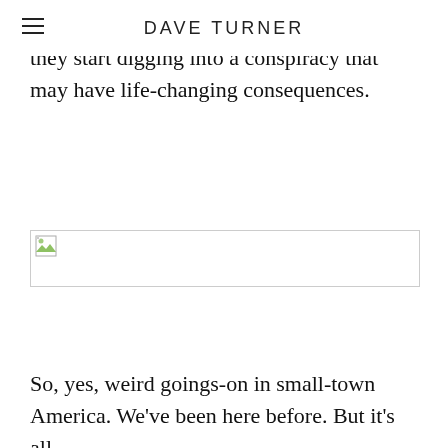DAVE TURNER
says he knows what the signals might be, they start digging into a conspiracy that may have life-changing consequences.
[Figure (photo): Broken/unloaded image placeholder with a small broken image icon in the top-left corner]
So, yes, weird goings-on in small-town America. We’ve been here before. But it’s all